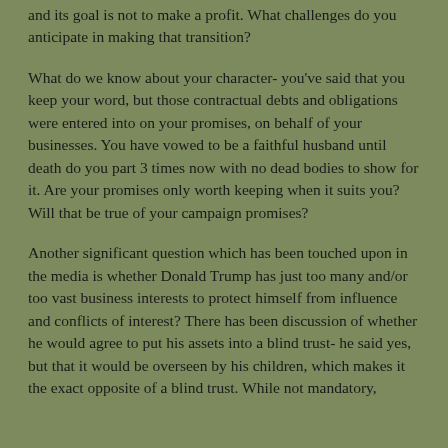and its goal is not to make a profit.  What challenges do you anticipate in making that transition?
What do we know about your character- you've said that you keep your word, but those contractual debts and obligations were entered into on your promises, on behalf of your businesses.  You have vowed to be a faithful husband until death do you part 3 times now with no dead bodies to show for it.  Are your promises only worth keeping when it suits you?  Will that be true of your campaign promises?
Another significant question which has been touched upon in the media is whether Donald Trump has just too many and/or too vast business interests to protect himself from influence and conflicts of interest?  There has been discussion of whether he would agree to put his assets into a blind trust- he said yes, but that it would be overseen by his children, which makes it the exact opposite of a blind trust.  While not mandatory,